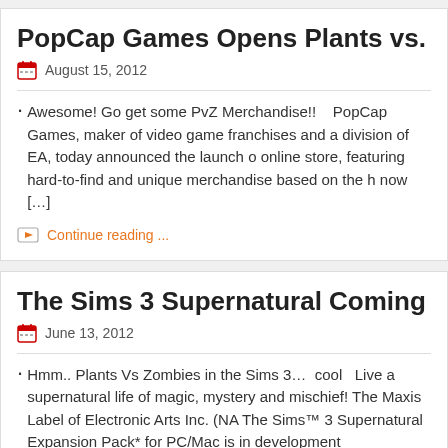PopCap Games Opens Plants vs. Zombies Online
August 15, 2012
Awesome! Go get some PvZ Merchandise!!    PopCap Games, maker of video game franchises and a division of EA, today announced the launch of online store, featuring hard-to-find and unique merchandise based on the h now [...]
Continue reading ...
The Sims 3 Supernatural Coming September 201
June 13, 2012
Hmm.. Plants Vs Zombies in the Sims 3…  cool   Live a supernatural life of magic, mystery and mischief! The Maxis Label of Electronic Arts Inc. (NA The Sims™ 3 Supernatural Expansion Pack* for PC/Mac is in development
Continue reading ...
PopCap Releases Major Update to Plants vs. Zo